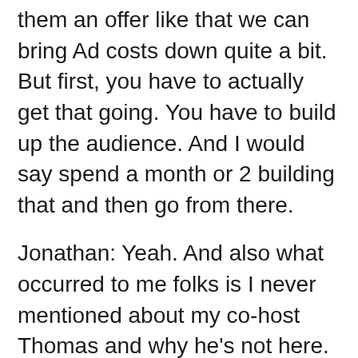them an offer like that we can bring Ad costs down quite a bit. But first, you have to actually get that going. You have to build up the audience. And I would say spend a month or 2 building that and then go from there.
Jonathan: Yeah. And also what occurred to me folks is I never mentioned about my co-host Thomas and why he's not here. It totally escaped me. He's going to be angry with me again folks. But no, he's fine. He's traveling again folks. In August he decided to go to the Lovefest. And now he's gone to some other conference. So he left me on my own